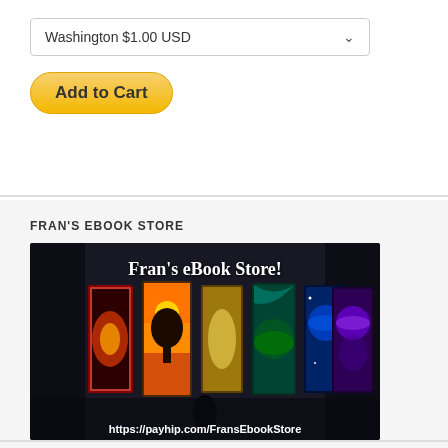Washington $1.00 USD
[Figure (screenshot): PayPal Add to Cart button with golden/yellow pill-shaped styling and bold black text]
FRAN'S EBOOK STORE
[Figure (photo): Fran's eBook Store promotional image showing six fantasy book covers arranged on a dark background with the text 'Fran's eBook Store!' and URL 'https://payhip.com/FransEbookStore']